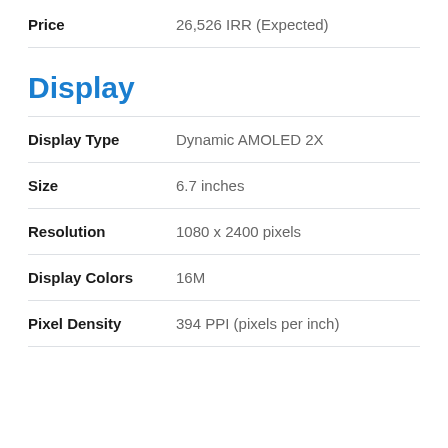| Attribute | Value |
| --- | --- |
| Price | 26,526 IRR (Expected) |
Display
| Attribute | Value |
| --- | --- |
| Display Type | Dynamic AMOLED 2X |
| Size | 6.7 inches |
| Resolution | 1080 x 2400 pixels |
| Display Colors | 16M |
| Pixel Density | 394 PPI (pixels per inch) |